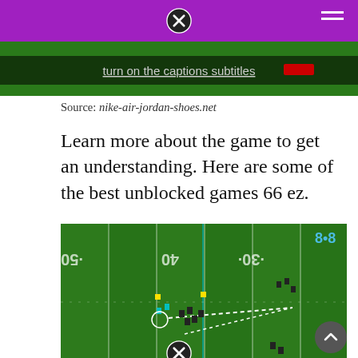[Figure (screenshot): Top portion of a video or webpage showing text 'turn on the captions subtitles']
Source: nike-air-jordan-shoes.net
Learn more about the game to get an understanding. Here are some of the best unblocked games 66 ez.
[Figure (screenshot): A top-down view of an American football video game showing a green field with yard markers (50, 40, 30) and pixelated football players, with a dotted line indicating a play or pass trajectory.]
Source: aa.ballon-fluo.com